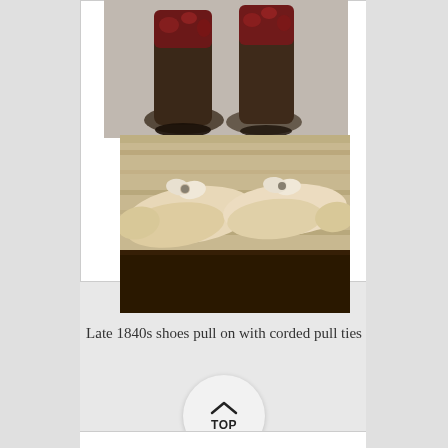[Figure (photo): Two photographs of historical footwear: top image shows dark leather boots with red embroidered/brocade tops displayed on stands; bottom image shows a pair of cream/ivory colored flat slippers with bow and brooch decorations placed on a wooden surface.]
Late 1840s shoes pull on with corded pull ties
[Figure (other): A circular 'TOP' navigation button with an upward-pointing chevron arrow above the text 'TOP', styled as a round white/light grey button.]